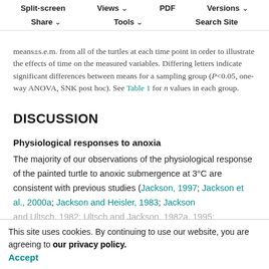means±s.e.m. from all of the turtles at each time point in order to illustrate the effects of time on the measured variables. Differing letters indicate significant differences between means for a sampling group (P<0.05, one-way ANOVA, SNK post hoc). See Table 1 for n values in each group.
Split-screen | Views | PDF | Versions | Share | Tools | Search Site
DISCUSSION
Physiological responses to anoxia
The majority of our observations of the physiological response of the painted turtle to anoxic submergence at 3°C are consistent with previous studies (Jackson, 1997; Jackson et al., 2000a; Jackson and Heisler, 1983; Jackson and Ultsch, 1982; Ultsch and Jackson, 1982a, 1995; Warburton and Jackson, 1995). We observed a large decrease in blood pH during anoxic submergence, with a concurrent increase in plasma lactate. The increasing
This site uses cookies. By continuing to use our website, you are agreeing to our privacy policy. Accept